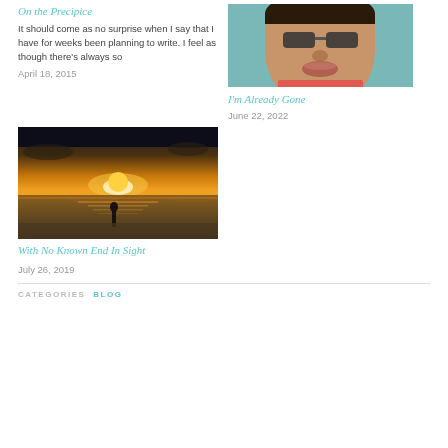On the Precipice
It should come as no surprise when I say that I have for weeks been planning to write. I feel as though there's always so
April 18, 2015
[Figure (photo): Portrait illustration of a person wearing glasses, comic/cartoon style]
I'm Already Gone
June 22, 2022
[Figure (photo): Sunset beach scene with a silhouette of a person standing at the water's edge]
With No Known End In Sight
July 26, 2019
CATEGORIES  BLOG